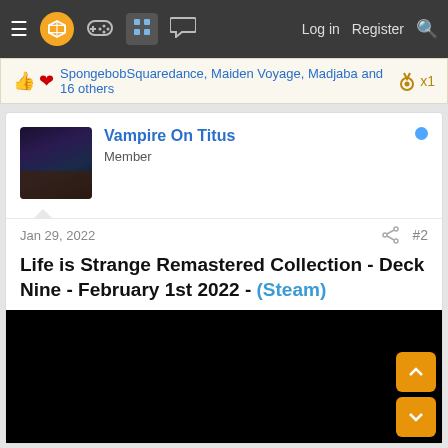Navigation bar with menu, logo, game controller, grid, chat icons, Log in, Register, Search
SpongebobSquaredance, Maiden Voyage, Madjaba and 16 others
x1
Vampire On Titus
Member
Jan 29, 2022
#2
Life is Strange Remastered Collection - Deck Nine - February 1st 2022 - (Steam)
[Figure (screenshot): Black video/media embed area]